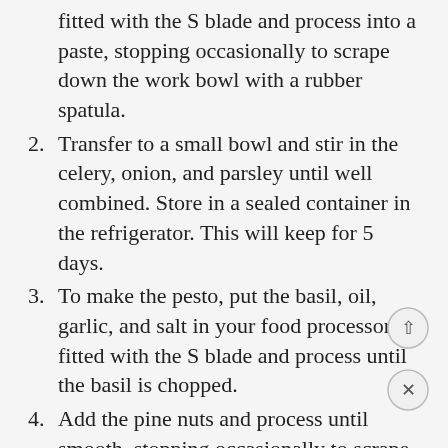fitted with the S blade and process into a paste, stopping occasionally to scrape down the work bowl with a rubber spatula.
2. Transfer to a small bowl and stir in the celery, onion, and parsley until well combined. Store in a sealed container in the refrigerator. This will keep for 5 days.
3. To make the pesto, put the basil, oil, garlic, and salt in your food processor fitted with the S blade and process until the basil is chopped.
4. Add the pine nuts and process until smooth, stopping occasionally to scrape down the work bowl with a rubber spatula. Do not over process; flecks of pine nuts should be visible